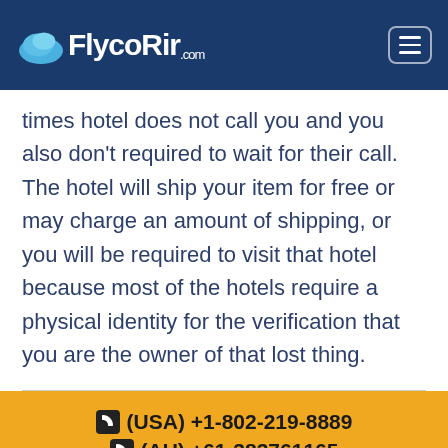FlycoAir.com
times hotel does not call you and you also don't required to wait for their call. The hotel will ship your item for free or may charge an amount of shipping, or you will be required to visit that hotel because most of the hotels require a physical identity for the verification that you are the owner of that lost thing.
(USA) +1-802-219-8889
(AU) +61-383761165
(UK) +44-203-514-5823